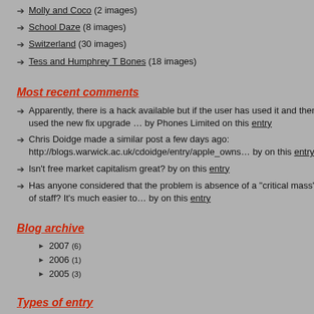Molly and Coco (2 images)
School Daze (8 images)
Switzerland (30 images)
Tess and Humphrey T Bones (18 images)
Most recent comments
Apparently, there is a hack available but if the user has used it and then used the new fix upgrade … by Phones Limited on this entry
Chris Doidge made a similar post a few days ago: http://blogs.warwick.ac.uk/cdoidge/entry/apple_owns… by on this entry
Isn't free market capitalism great? by on this entry
Has anyone considered that the problem is absence of a "critical mass" of staff? It's much easier to… by on this entry
Blog archive
2007 (6)
2006 (1)
2005 (3)
Types of entry
Book reviews
DVD reviews